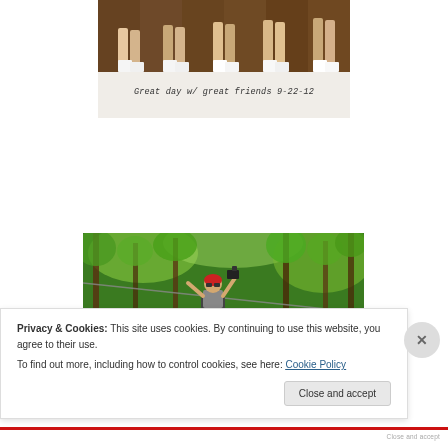[Figure (photo): Cropped photo showing legs/feet of group standing on wooden deck, with handwritten caption 'Great day w/ great friends 9-22-12' below]
Great day w/ great friends 9-22-12
[Figure (photo): Person on a zipline in a forested area with green trees, wearing a helmet and harness, holding a camera]
Privacy & Cookies: This site uses cookies. By continuing to use this website, you agree to their use.
To find out more, including how to control cookies, see here: Cookie Policy
Close and accept